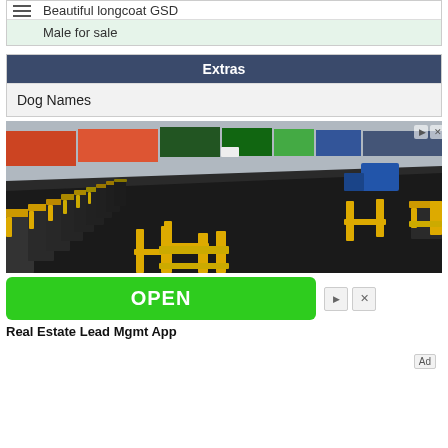Beautiful longcoat GSD
Male for sale
Extras
Dog Names
[Figure (photo): Aerial view of a row of black flatbed rail cars with yellow safety railings at a port/industrial yard, with colorful shipping containers and vehicles visible in the background.]
[Figure (screenshot): Advertisement with a green OPEN button and icons. Text reads: Real Estate Lead Mgmt App]
Real Estate Lead Mgmt App
Ad